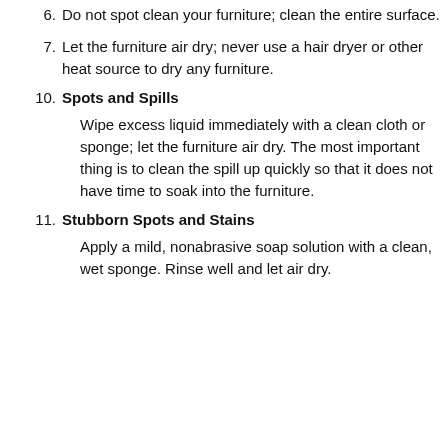6. Do not spot clean your furniture; clean the entire surface.
7. Let the furniture air dry; never use a hair dryer or other heat source to dry any furniture.
10. Spots and Spills
Wipe excess liquid immediately with a clean cloth or sponge; let the furniture air dry. The most important thing is to clean the spill up quickly so that it does not have time to soak into the furniture.
11. Stubborn Spots and Stains
Apply a mild, nonabrasive soap solution with a clean, wet sponge. Rinse well and let air dry.